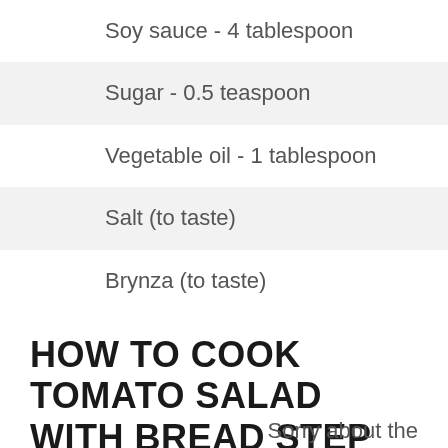Soy sauce - 4 tablespoon
Sugar - 0.5 teaspoon
Vegetable oil - 1 tablespoon
Salt (to taste)
Brynza (to taste)
HOW TO COOK TOMATO SALAD WITH BREAD STEP BY STEP WITH PHOTOS
Sorry about the